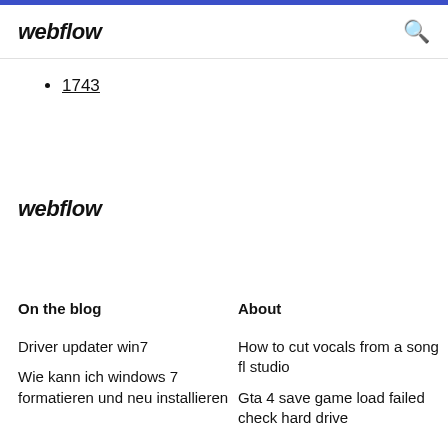webflow
1743
webflow
On the blog
About
Driver updater win7
How to cut vocals from a song fl studio
Wie kann ich windows 7 formatieren und neu installieren
Gta 4 save game load failed check hard drive